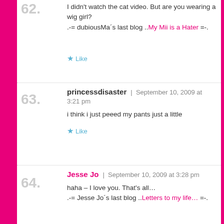62. I didn't watch the cat video. But are you wearing a wig girl?
.-= dubiousMa´s last blog ..My Mii is a Hater =-.
63. princessdisaster | September 10, 2009 at 3:21 pm
i think i just peeed my pants just a little
64. Jesse Jo | September 10, 2009 at 3:28 pm
haha – I love you. That's all…
.-= Jesse Jo´s last blog ..Letters to my life… =-.